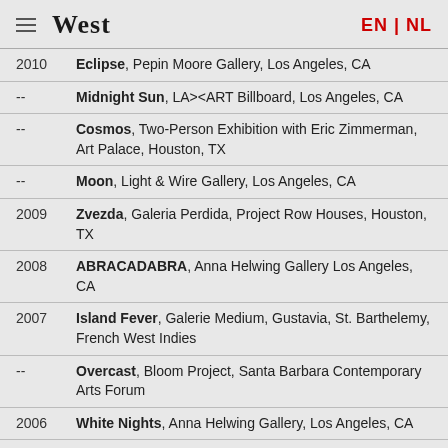West   EN | NL
2010  Eclipse, Pepin Moore Gallery, Los Angeles, CA
--  Midnight Sun, LA><ART Billboard, Los Angeles, CA
--  Cosmos, Two-Person Exhibition with Eric Zimmerman, Art Palace, Houston, TX
--  Moon, Light & Wire Gallery, Los Angeles, CA
2009  Zvezda, Galeria Perdida, Project Row Houses, Houston, TX
2008  ABRACADABRA, Anna Helwing Gallery Los Angeles, CA
2007  Island Fever, Galerie Medium, Gustavia, St. Barthelemy, French West Indies
--  Overcast, Bloom Project, Santa Barbara Contemporary Arts Forum
2006  White Nights, Anna Helwing Gallery, Los Angeles, CA
2005  All Summer in a Day, Anna Helwing Gallery, Los Angeles, CA
GROUP EXHIBITIONS — SELECTION
2012  The Ball of Artists, Greystone Manor, Beverly Hills, CA
2011  Second Story, new editions, Pepin Moore, Los Angeles, CA
--  Science & Exploration, Hunter Gallery, New York, NY